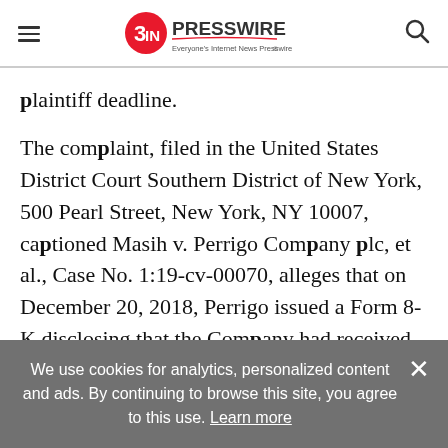EIN PRESSWIRE — Everyone's Internet News Presswire
plaintiff deadline.
The complaint, filed in the United States District Court Southern District of New York, 500 Pearl Street, New York, NY 10007, captioned Masih v. Perrigo Company plc, et al., Case No. 1:19-cv-00070, alleges that on December 20, 2018, Perrigo issued a Form 8-K disclosing that the Company had received an audit finding letter from the Irish tax authorities on October 30, 2018 asserting "that IP
We use cookies for analytics, personalized content and ads. By continuing to browse this site, you agree to this use. Learn more